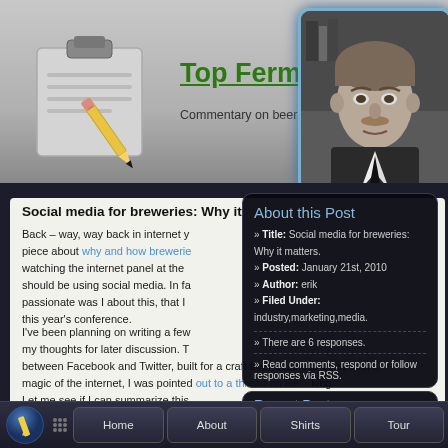[Figure (screenshot): Website screenshot of Top Fermentation blog showing header with notepad/pencil icon and Einstein-style profile photo]
Top Fermer[itation]
Commentary on beer, bre[wing]...industry.
Social media for breweries: Why it[matters]
Back – way, way back in internet y[ears]... piece about why and how brewerie[s]... watching the internet panel at the [conf]... should be using social media. In fa[ct, so]... passionate was I about this, that I [...]... this year's conference.

I've been planning on writing a few[...]... my thoughts for later discussion. T[his is]... between Facebook and Twitter, built for a craft beer business perspective. magic of the internet, I was pointed[out to a thread on Re:...]...king

Let me see if I can summarize this[...]
About this Post
» Title: Social media for breweries: Why it matters.
» Posted: January 21st, 2010
» Author: erik
» Filed Under: industry,marketing,media.
» There are 6 responses.
» Read comments, respond or follow responses via RSS.
Recent Posts
All the same old news is new
Home   About   Shirts   Tour